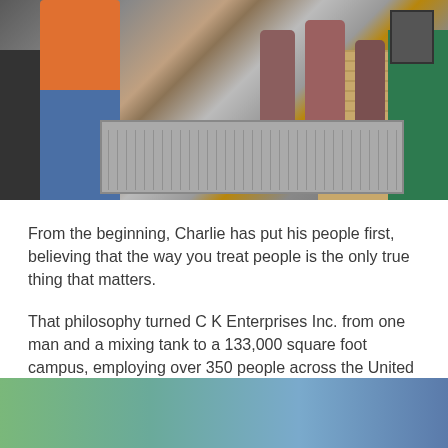[Figure (photo): Industrial factory scene showing workers at a conveyor belt with large cylindrical containers and cardboard stacks in the background]
From the beginning, Charlie has put his people first, believing that the way you treat people is the only true thing that matters.
That philosophy turned C K Enterprises Inc. from one man and a mixing tank to a 133,000 square foot campus, employing over 350 people across the United States, blending around 100,000 lbs of chemicals every week, and printing over 2,000,000 labels per year.